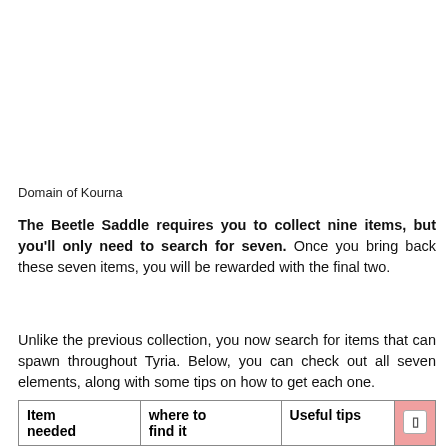Domain of Kourna
The Beetle Saddle requires you to collect nine items, but you'll only need to search for seven. Once you bring back these seven items, you will be rewarded with the final two.
Unlike the previous collection, you now search for items that can spawn throughout Tyria. Below, you can check out all seven elements, along with some tips on how to get each one.
| Item needed | where to find it | Useful tips |  |
| --- | --- | --- | --- |